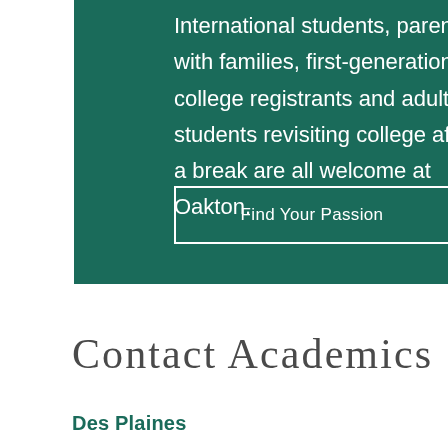International students, parents with families, first-generation college registrants and adult students revisiting college after a break are all welcome at Oakton.
Find Your Passion
Contact Academics
Des Plaines